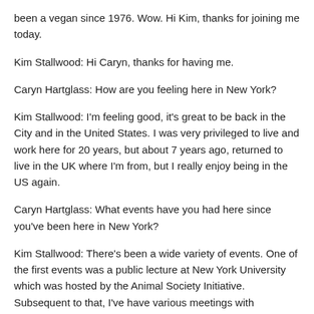been a vegan since 1976. Wow. Hi Kim, thanks for joining me today.
Kim Stallwood: Hi Caryn, thanks for having me.
Caryn Hartglass: How are you feeling here in New York?
Kim Stallwood: I'm feeling good, it's great to be back in the City and in the United States. I was very privileged to live and work here for 20 years, but about 7 years ago, returned to live in the UK where I'm from, but I really enjoy being in the US again.
Caryn Hartglass: What events have you had here since you've been here in New York?
Kim Stallwood: There's been a wide variety of events. One of the first events was a public lecture at New York University which was hosted by the Animal Society Initiative. Subsequent to that, I've have various meetings with individuals and representatives of organizations. Tomorrow I leave the City to go to Baltimore for a week where I will be based and doing presentations in Baltimore,